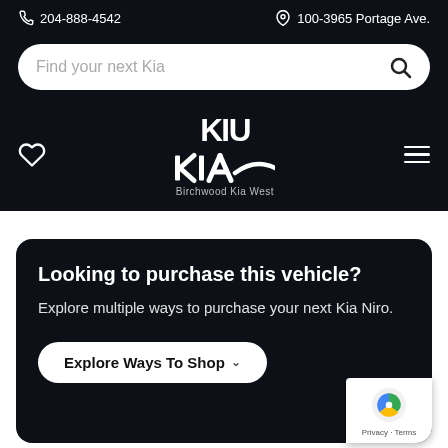204-888-4542   100-3965 Portage Ave.
[Figure (screenshot): Search bar with placeholder text 'Find your next Kia' and a magnifying glass icon on a white rounded rectangle]
[Figure (logo): KIA logo in white with text 'Birchwood Kia West' below, on dark background. Heart icon on left, hamburger menu on right.]
Looking to purchase this vehicle?
Explore multiple ways to purchase your next Kia Niro.
Explore Ways To Shop